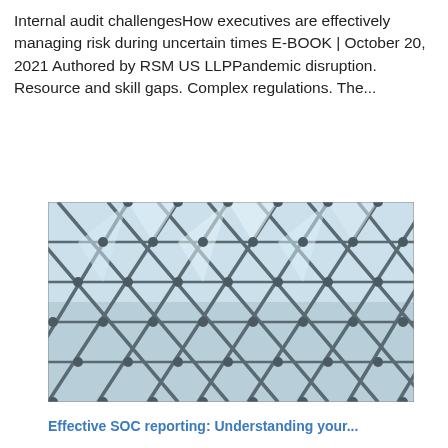Internal audit challengesHow executives are effectively managing risk during uncertain times E-BOOK | October 20, 2021 Authored by RSM US LLPPandemic disruption. Resource and skill gaps. Complex regulations. The...
[Figure (photo): Architectural photo of a geometric glass and steel ceiling structure with triangular panels arranged in a diagonal grid pattern, viewed from below. Blue and white tones from light filtering through the glass.]
Effective SOC reporting: Understanding your...